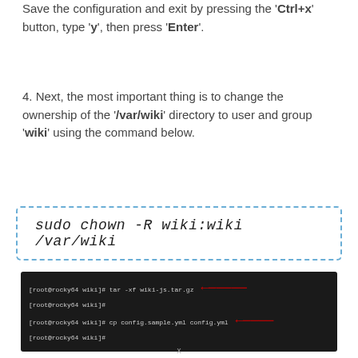Save the configuration and exit by pressing the 'Ctrl+x' button, type 'y', then press 'Enter'.
4. Next, the most important thing is to change the ownership of the '/var/wiki' directory to user and group 'wiki' using the command below.
sudo chown -R wiki:wiki /var/wiki
[Figure (screenshot): Terminal screenshot showing commands: tar -xf wiki-js.tar.gz and cp config.sample.yml config.yml with red arrows pointing to them]
[Figure (other): Porsche 911 advertisement: 'The new 911. Ever ahead.' with LEARN MORE button and Porsche logo]